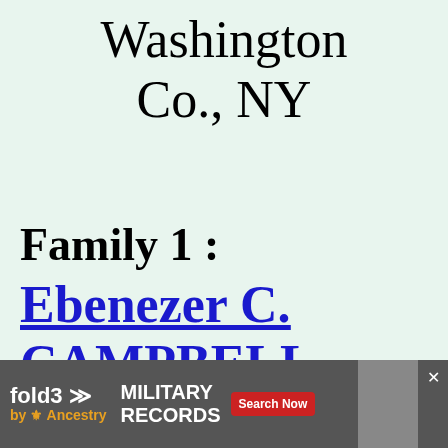Washington Co., NY
Family 1 : Ebenezer C. CAMPBELL (b. 17 MAR 1813, d. 8 OCT …)
[Figure (other): Fold3 by Ancestry advertisement banner for Military Records with Search Now button and close X]